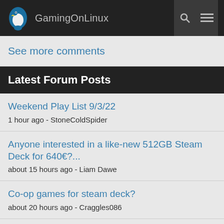GamingOnLinux
See more comments
Latest Forum Posts
Weekend Play List 9/3/22
1 hour ago - StoneColdSpider
Anyone interested in a like-new 512GB Steam Deck for 640€?...
about 15 hours ago - Liam Dawe
Co-op games for steam deck?
about 20 hours ago - Craggles086
List of websites from publishers/developers that sell native linu...
about 22 hours ago - BlackBloodRum